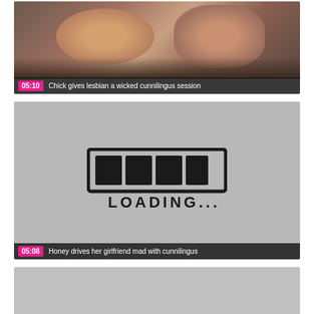[Figure (screenshot): Video thumbnail showing two women, with overlay showing duration 05:10 and title 'Chick gives lesbian a wicked cunnilingus session']
[Figure (screenshot): Video thumbnail showing loading screen with hand-drawn progress bar and LOADING... text, overlay showing duration 05:08 and title 'Honey drives her girlfriend mad with cunnilingus']
[Figure (screenshot): Video thumbnail showing gray loading placeholder, partially visible at bottom of page]